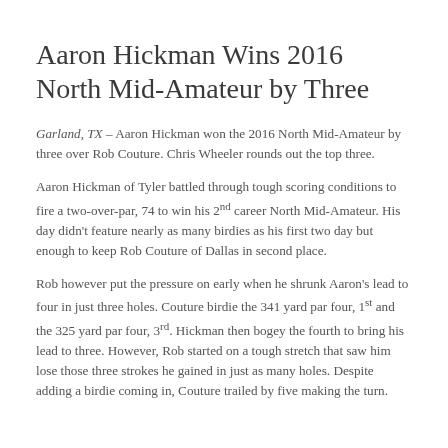Aaron Hickman Wins 2016 North Mid-Amateur by Three
Garland, TX – Aaron Hickman won the 2016 North Mid-Amateur by three over Rob Couture. Chris Wheeler rounds out the top three.
Aaron Hickman of Tyler battled through tough scoring conditions to fire a two-over-par, 74 to win his 2nd career North Mid-Amateur. His day didn't feature nearly as many birdies as his first two day but enough to keep Rob Couture of Dallas in second place.
Rob however put the pressure on early when he shrunk Aaron's lead to four in just three holes. Couture birdie the 341 yard par four, 1st and the 325 yard par four, 3rd. Hickman then bogey the fourth to bring his lead to three. However, Rob started on a tough stretch that saw him lose those three strokes he gained in just as many holes. Despite adding a birdie coming in, Couture trailed by five making the turn.